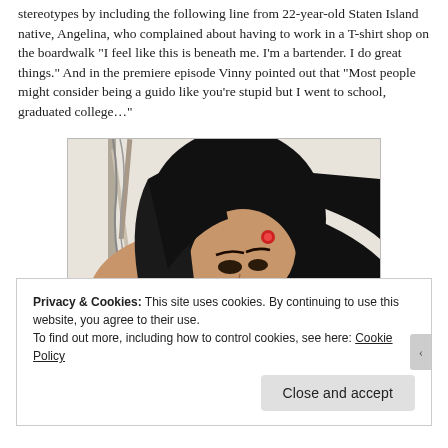stereotypes by including the following line from 22-year-old Staten Island native, Angelina, who complained about having to work in a T-shirt shop on the boardwalk "I feel like this is beneath me. I'm a bartender. I do great things." And in the premiere episode Vinny pointed out that "Most people might consider being a guido like you're stupid but I went to school, graduated college..."
[Figure (photo): Photo of a young dark-haired woman with her hand raised to her head, wearing dark clothing, with a red accessory in her hair. Background appears to be an outdoor or industrial setting.]
Privacy & Cookies: This site uses cookies. By continuing to use this website, you agree to their use.
To find out more, including how to control cookies, see here: Cookie Policy